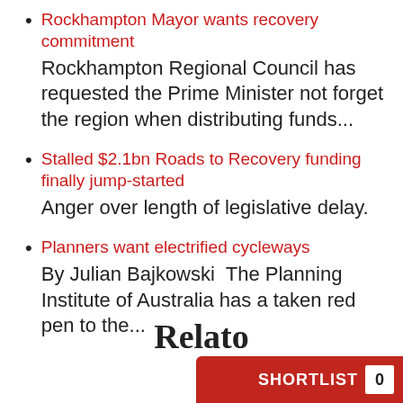Rockhampton Mayor wants recovery commitment — Rockhampton Regional Council has requested the Prime Minister not forget the region when distributing funds...
Stalled $2.1bn Roads to Recovery funding finally jump-started — Anger over length of legislative delay.
Planners want electrified cycleways — By Julian Bajkowski  The Planning Institute of Australia has a taken red pen to the...
Relato